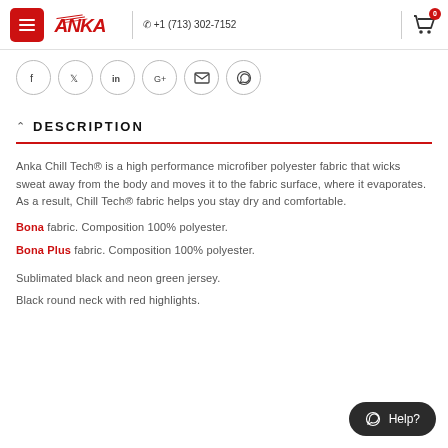Anka logo | +1 (713) 302-7152 | Cart (0)
[Figure (other): Social media share icons: Facebook, Twitter, LinkedIn, Google+, Email, WhatsApp]
DESCRIPTION
Anka Chill Tech® is a high performance microfiber polyester fabric that wicks sweat away from the body and moves it to the fabric surface, where it evaporates. As a result, Chill Tech® fabric helps you stay dry and comfortable.
Bona fabric. Composition 100% polyester.
Bona Plus fabric. Composition 100% polyester.
Sublimated black and neon green jersey.
Black round neck with red highlights.